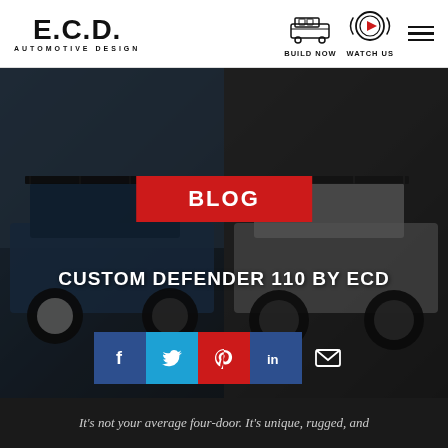[Figure (logo): E.C.D. Automotive Design logo in bold black letters]
[Figure (illustration): Jeep/Defender icon for Build Now navigation]
[Figure (illustration): Radio wave play button icon for Watch Us navigation]
BLOG
[Figure (photo): Two custom Land Rover Defender 110 vehicles side by side — left is blue with roof rack, right is white/silver with roof rack and lift kit. Dark moody background.]
CUSTOM DEFENDER 110 BY ECD
[Figure (infographic): Social sharing buttons: Facebook (blue), Twitter (light blue), Pinterest (red), LinkedIn (dark blue), Email (dark gray)]
It's not your average four-door. It's unique, rugged, and